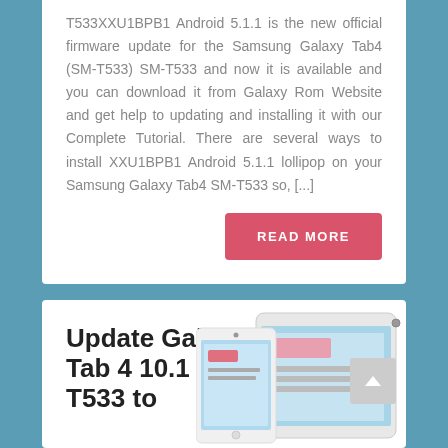T533XXU1BPB1 Android 5.1.1 is the new official firmware update for the Samsung Galaxy Tab4 (SM-T533) SM-T533 and now it is available and you can download it from Galaxy Rom Website and get help to updating and installing it with our Complete Tutorial. There are several ways to install XXU1BPB1 Android 5.1.1 lollipop on your Samsung Galaxy Tab4 SM-T533 so, [...]
READ MORE
Update Galaxy Tab 4 10.1 SM-T533 to
[Figure (photo): Samsung Galaxy Tab 4 tablet shown from front and side angles, white color]